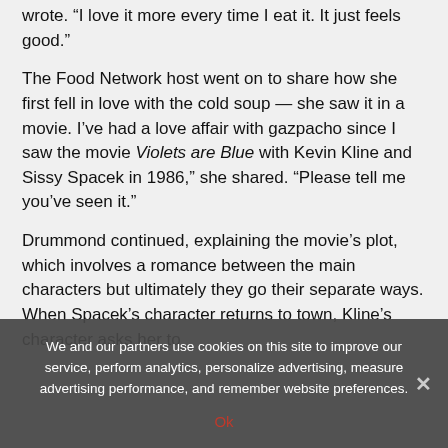wrote. “I love it more every time I eat it. It just feels good.”
The Food Network host went on to share how she first fell in love with the cold soup — she saw it in a movie. I’ve had a love affair with gazpacho since I saw the movie Violets are Blue with Kevin Kline and Sissy Spacek in 1986,” she shared. “Please tell me you’ve seen it.”
Drummond continued, explaining the movie’s plot, which involves a romance between the main characters but ultimately they go their separate ways. When Spacek’s character returns to town, Kline’s character asks her to
We and our partners use cookies on this site to improve our service, perform analytics, personalize advertising, measure advertising performance, and remember website preferences.
Ok